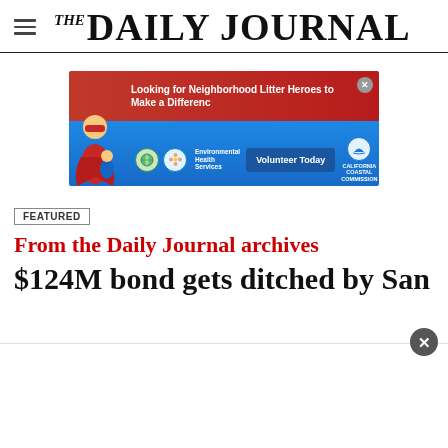THE DAILY JOURNAL
[Figure (infographic): Advertisement banner: 'Looking for Neighborhood Litter Heroes to Make a Difference' with Environmental Health Services and California Coastal Commission logos and a Volunteer Today button. A superhero character is shown on the left.]
FEATURED
From the Daily Journal archives
$124M bond gets ditched by San